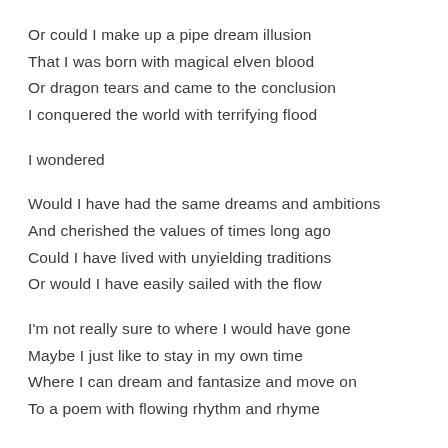Or could I make up a pipe dream illusion
That I was born with magical elven blood
Or dragon tears and came to the conclusion
I conquered the world with terrifying flood
I wondered
Would I have had the same dreams and ambitions
And cherished the values of times long ago
Could I have lived with unyielding traditions
Or would I have easily sailed with the flow
I'm not really sure to where I would have gone
Maybe I just like to stay in my own time
Where I can dream and fantasize and move on
To a poem with flowing rhythm and rhyme